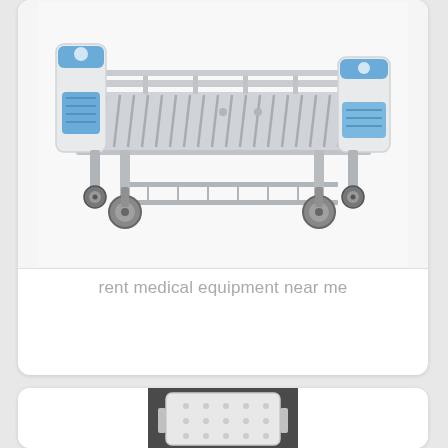[Figure (photo): A hospital/medical bed with blue and white frame, metal rails, and four wheels/casters. The bed has a slatted metal surface and storage rack underneath.]
rent medical equipment near me
[Figure (photo): A white rectangular shower/bath transfer bench or bath board with holes/slots, photographed against a wall.]